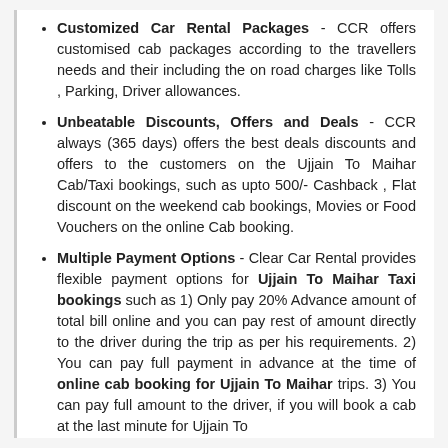Customized Car Rental Packages - CCR offers customised cab packages according to the travellers needs and their including the on road charges like Tolls , Parking, Driver allowances.
Unbeatable Discounts, Offers and Deals - CCR always (365 days) offers the best deals discounts and offers to the customers on the Ujjain To Maihar Cab/Taxi bookings, such as upto 500/- Cashback , Flat discount on the weekend cab bookings, Movies or Food Vouchers on the online Cab booking.
Multiple Payment Options - Clear Car Rental provides flexible payment options for Ujjain To Maihar Taxi bookings such as 1) Only pay 20% Advance amount of total bill online and you can pay rest of amount directly to the driver during the trip as per his requirements. 2) You can pay full payment in advance at the time of online cab booking for Ujjain To Maihar trips. 3) You can pay full amount to the driver, if you will book a cab at the last minute for Ujjain To